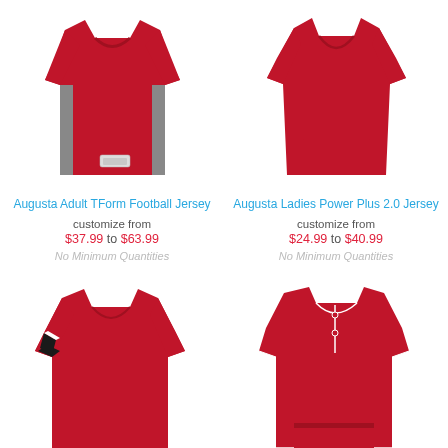[Figure (photo): Augusta Adult TForm Football Jersey - red sports jersey with side panels, front view]
Augusta Adult TForm Football Jersey
customize from
$37.99 to $63.99
No Minimum Quantities
[Figure (photo): Augusta Ladies Power Plus 2.0 Jersey - red women's sports jersey, front view]
Augusta Ladies Power Plus 2.0 Jersey
customize from
$24.99 to $40.99
No Minimum Quantities
[Figure (photo): Red sports jersey with black and white stripe on sleeve, front view, partially visible]
[Figure (photo): Red baseball jersey with white piping and two-button placket, front view with coordinate shorts visible]